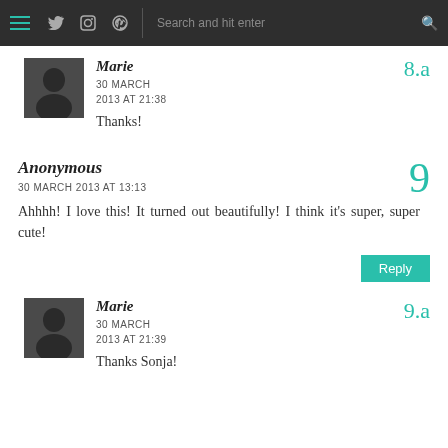Navigation bar with menu, social icons, and search
Marie
30 MARCH
2013 AT 21:38
Thanks!
Anonymous
30 MARCH 2013 AT 13:13
Ahhhh! I love this! It turned out beautifully! I think it's super, super cute!
Reply
Marie
30 MARCH
2013 AT 21:39
Thanks Sonja!